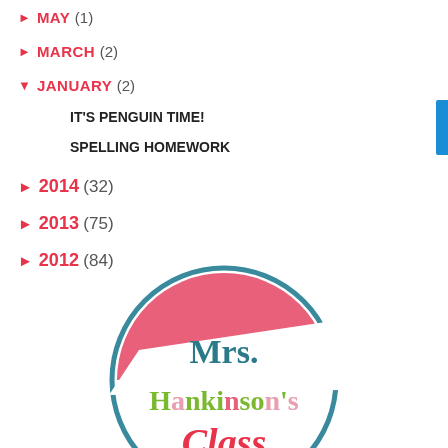MAY (1)
MARCH (2)
JANUARY (2)
IT'S PENGUIN TIME!
SPELLING HOMEWORK
2014 (32)
2013 (75)
2012 (84)
[Figure (logo): Mrs. Hankinson's Class circular logo with teal border, pink background top half, white banner, colorful text reading Mrs. Hankinson's Class in teal, pink, and green letters]